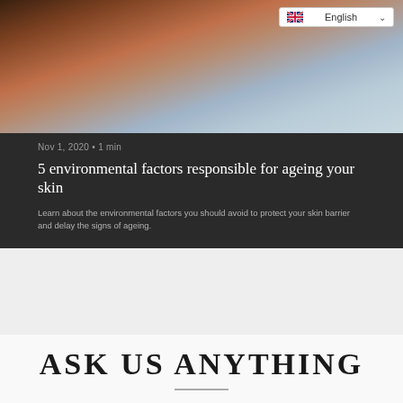[Figure (photo): Close-up photo of a woman's back with tanned skin and dark hair, ocean/sky background visible. Language selector dropdown showing English with UK flag in top right corner.]
Nov 1, 2020 • 1 min
5 environmental factors responsible for ageing your skin
Learn about the environmental factors you should avoid to protect your skin barrier and delay the signs of ageing.
ASK US ANYTHING